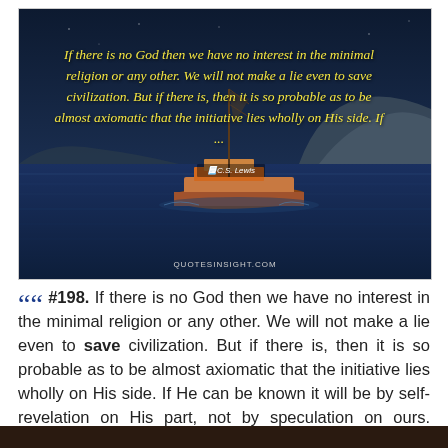[Figure (photo): A boat sailing on dark blue sea with hills/mountains in background under a dark sky. Yellow italic quote text overlaid on the image. Attribution 'C.S. Lewis' and watermark 'QUOTESINSIGHT.COM' visible.]
““ #198. If there is no God then we have no interest in the minimal religion or any other. We will not make a lie even to save civilization. But if there is, then it is so probable as to be almost axiomatic that the initiative lies wholly on His side. If He can be known it will be by self-revelation on His part, not by speculation on ours. #Quote by C.S. Lewis ””